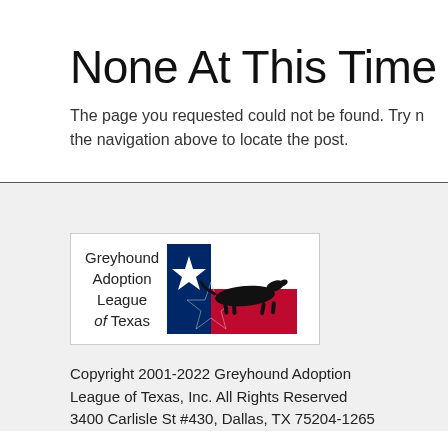None At This Time
The page you requested could not be found. Try n the navigation above to locate the post.
[Figure (logo): Greyhound Adoption League of Texas logo — text on left reading 'Greyhound Adoption League of Texas' and a stylized Texas flag image on the right with a black greyhound silhouette running across a white, red, and blue Texas flag background with a star.]
Copyright 2001-2022 Greyhound Adoption League of Texas, Inc. All Rights Reserved 3400 Carlisle St #430, Dallas, TX 75204-1265